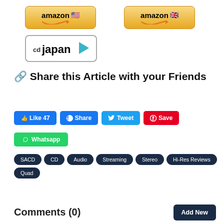[Figure (logo): Amazon US button with American flag emoji]
[Figure (logo): Amazon UK button with UK flag emoji]
[Figure (logo): CDJapan logo button]
🔗 Share this Article with your Friends
👍 Like 47
f Share
🐦 Tweet
® Save
Whatsapp
SACD
CD
Audio
Streaming
Stereo
Hi-Res Reviews
Quad
Comments (0)
Add New